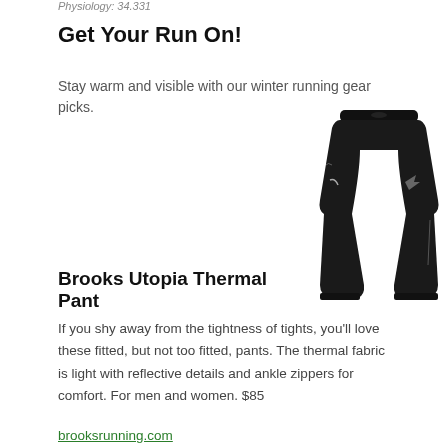Physiology: 34.331
Get Your Run On!
Stay warm and visible with our winter running gear picks.
[Figure (photo): Black Brooks Utopia Thermal running pants shown on a plain white background. The pants are full-length with an elastic waistband and ankle zippers, featuring a small reflective logo on the thigh.]
Brooks Utopia Thermal Pant
If you shy away from the tightness of tights, you'll love these fitted, but not too fitted, pants. The thermal fabric is light with reflective details and ankle zippers for comfort. For men and women. $85
brooksrunning.com